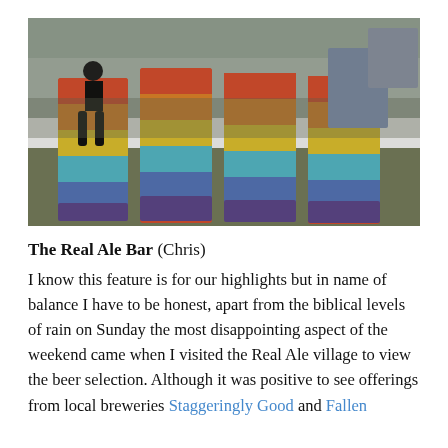[Figure (photo): Festival photo showing people sitting/standing on large rainbow-colored 'LOVE' letter sculptures in a field, with a stage and crowd in the background.]
The Real Ale Bar (Chris) I know this feature is for our highlights but in name of balance I have to be honest, apart from the biblical levels of rain on Sunday the most disappointing aspect of the weekend came when I visited the Real Ale village to view the beer selection. Although it was positive to see offerings from local breweries Staggeringly Good and Fallen